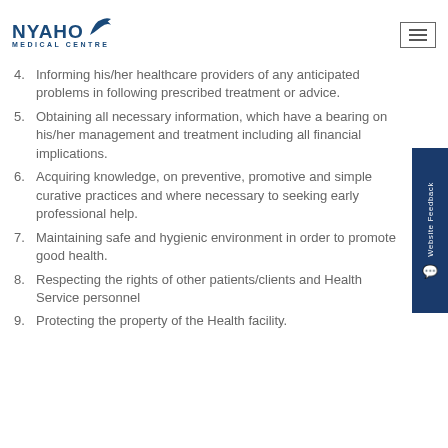[Figure (logo): Nyaho Medical Centre logo with bird graphic in blue]
4. Informing his/her healthcare providers of any anticipated problems in following prescribed treatment or advice.
5. Obtaining all necessary information, which have a bearing on his/her management and treatment including all financial implications.
6. Acquiring knowledge, on preventive, promotive and simple curative practices and where necessary to seeking early professional help.
7. Maintaining safe and hygienic environment in order to promote good health.
8. Respecting the rights of other patients/clients and Health Service personnel
9. Protecting the property of the Health facility.